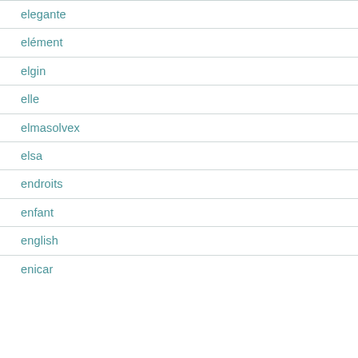elegante
elément
elgin
elle
elmasolvex
elsa
endroits
enfant
english
enicar